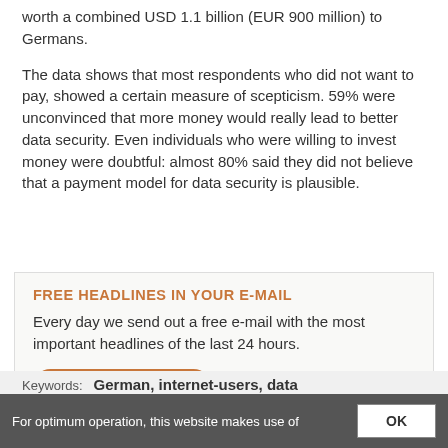worth a combined USD 1.1 billion (EUR 900 million) to Germans.
The data shows that most respondents who did not want to pay, showed a certain measure of scepticism. 59% were unconvinced that more money would really lead to better data security. Even individuals who were willing to invest money were doubtful: almost 80% said they did not believe that a payment model for data security is plausible.
FREE HEADLINES IN YOUR E-MAIL
Every day we send out a free e-mail with the most important headlines of the last 24 hours.
SUBSCRIBE NOW
For optimum operation, this website makes use of  OK
Keywords:  German, internet-users, data